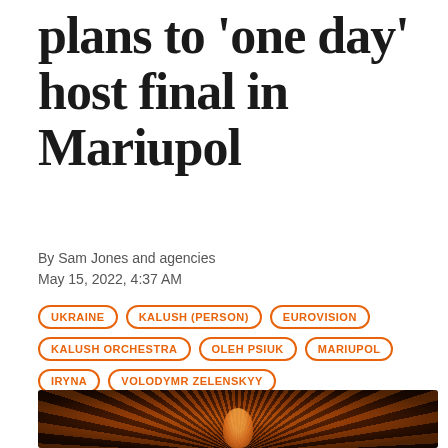plans to 'one day' host final in Mariupol
By Sam Jones and agencies
May 15, 2022, 4:37 AM
UKRAINE
KALUSH (PERSON)
EUROVISION
KALUSH ORCHESTRA
OLEH PSIUK
MARIUPOL
IRYNA
VOLODYMR ZELENSKYY
AZOVSTAL (ORGANIZATION)
KYIV
[Figure (photo): Dark performance photo showing performer on stage with radial lighting effects in orange and red tones]